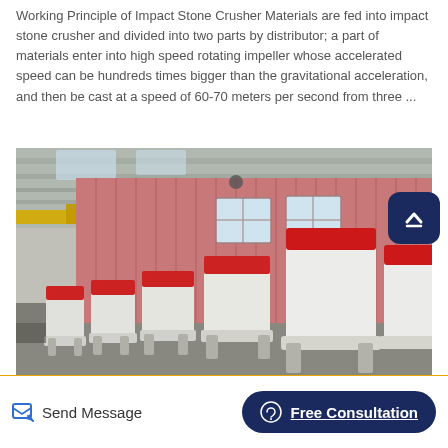Working Principle of Impact Stone Crusher Materials are fed into impact stone crusher and divided into two parts by distributor; a part of materials enter into high speed rotating impeller whose accelerated speed can be hundreds times bigger than the gravitational acceleration, and then be cast at a speed of 60-70 meters per second from three ...
[Figure (photo): Interior of a large industrial warehouse/factory showing a row of white and red impact stone crusher machines lined up on the floor. The building has a pink/red corrugated metal exterior wall visible through the open space, with industrial overhead crane beams and skylights in the ceiling.]
Send Message | Free Consultation